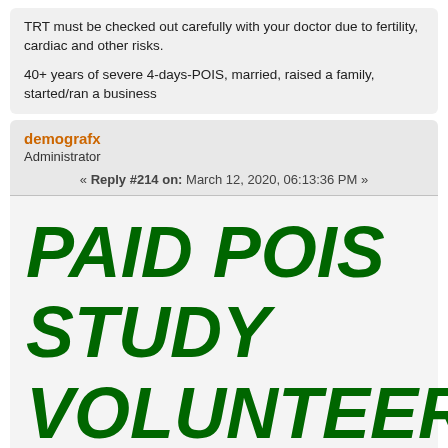TRT must be checked out carefully with your doctor due to fertility, cardiac and other risks.
40+ years of severe 4-days-POIS, married, raised a family, started/ran a business
demografx
Administrator
« Reply #214 on: March 12, 2020, 06:13:36 PM »
PAID POIS STUDY VOLUNTEERS: See if you